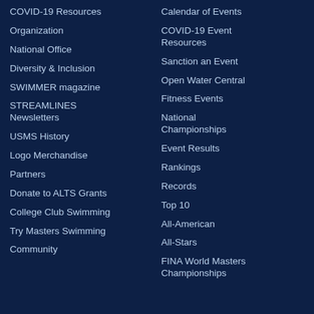COVID-19 Resources
Organization
National Office
Diversity & Inclusion
SWIMMER magazine
STREAMLINES Newsletters
USMS History
Logo Merchandise
Partners
Donate to ALTS Grants
College Club Swimming
Try Masters Swimming
Community
Calendar of Events
COVID-19 Event Resources
Sanction an Event
Open Water Central
Fitness Events
National Championships
Event Results
Rankings
Records
Top 10
All-American
All-Stars
FINA World Masters Championships